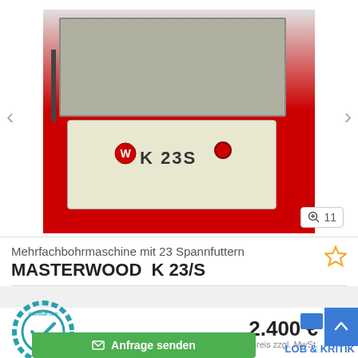[Figure (photo): Industrial multi-spindle boring machine Masterwood K23S on a red floor, with a horizontal drilling frame on top and a beige machine body showing the brand logo and model label 'K23S', navigation arrows on left and right, zoom badge showing '11']
Mehrfachbohrmaschine mit 23 Spannfuttern
MASTERWOOD  K 23/S
[Figure (logo): Geprüfter Händler badge — circular teal gear/badge with checkmark and text 'GEPRÜFTER HÄNDLER']
2.400 €
Festpreis zzgl. MwSt.
LOB & KRITIK
✉ Anfrage senden